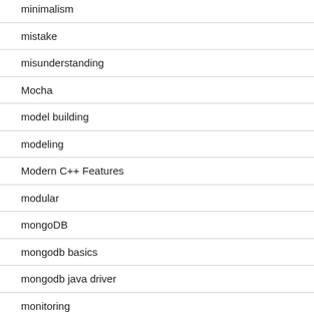minimalism
mistake
misunderstanding
Mocha
model building
modeling
Modern C++ Features
modular
mongoDB
mongodb basics
mongodb java driver
monitoring